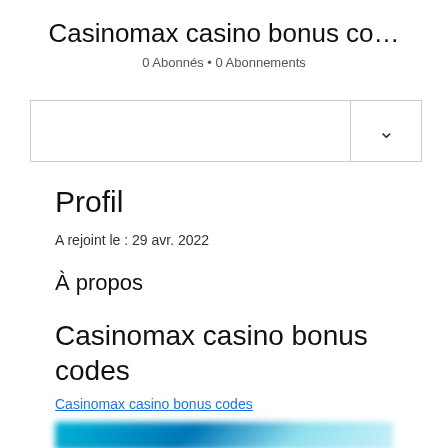Casinomax casino bonus co…
0 Abonnés • 0 Abonnements
Profil
A rejoint le : 29 avr. 2022
À propos
Casinomax casino bonus codes
Casinomax casino bonus codes
[Figure (photo): Blurred preview image of casino-related content]